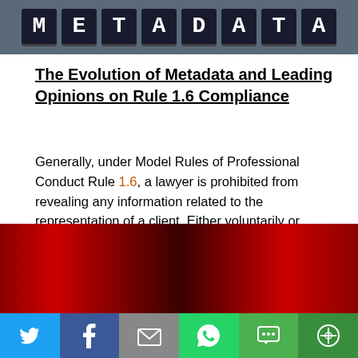[Figure (photo): Dark flipboard/scoreboard style image showing letters spelling METADATA on dark tiles against a steel blue background]
The Evolution of Metadata and Leading Opinions on Rule 1.6 Compliance
Generally, under Model Rules of Professional Conduct Rule 1.6, a lawyer is prohibited from revealing any information related to the representation of a client. Either voluntarily or involuntarily, unless informed consent is given by his/her client. However, client information is often inadvertently revealed in electronic document metadata.
[Figure (photo): Dark red curtain or abstract red and black background image]
[Figure (infographic): Social sharing bar with Twitter, Facebook, Email, WhatsApp, SMS, and More buttons]